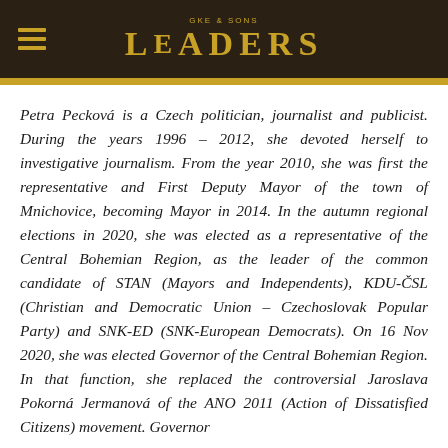LEADERS
Petra Pecková is a Czech politician, journalist and publicist. During the years 1996 – 2012, she devoted herself to investigative journalism. From the year 2010, she was first the representative and First Deputy Mayor of the town of Mnichovice, becoming Mayor in 2014. In the autumn regional elections in 2020, she was elected as a representative of the Central Bohemian Region, as the leader of the common candidate of STAN (Mayors and Independents), KDU-ČSL (Christian and Democratic Union – Czechoslovak Popular Party) and SNK-ED (SNK-European Democrats). On 16 Nov 2020, she was elected Governor of the Central Bohemian Region. In that function, she replaced the controversial Jaroslava Pokorná Jermanová of the ANO 2011 (Action of Dissatisfied Citizens) movement. Governor